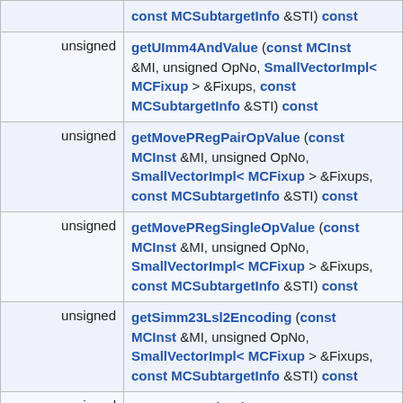| Type | Function |
| --- | --- |
| unsigned | getUImm4AndValue (const MCInst &MI, unsigned OpNo, SmallVectorImpl< MCFixup > &Fixups, const MCSubtargetInfo &STI) const |
| unsigned | getMovePRegPairOpValue (const MCInst &MI, unsigned OpNo, SmallVectorImpl< MCFixup > &Fixups, const MCSubtargetInfo &STI) const |
| unsigned | getMovePRegSingleOpValue (const MCInst &MI, unsigned OpNo, SmallVectorImpl< MCFixup > &Fixups, const MCSubtargetInfo &STI) const |
| unsigned | getSimm23Lsl2Encoding (const MCInst &MI, unsigned OpNo, SmallVectorImpl< MCFixup > &Fixups, const MCSubtargetInfo &STI) const |
| unsigned | getExprOpValue (const MCExpr *Expr, SmallVectorImpl< MCFixup > &Fixups, const MCSubtargetInfo &STI) const |